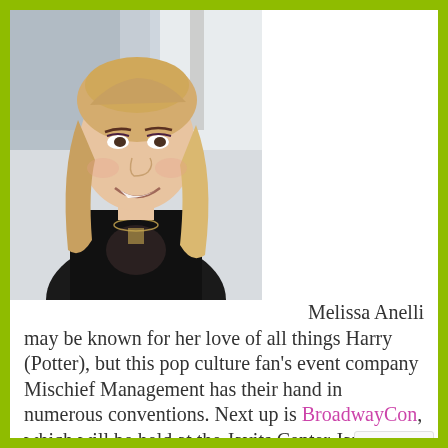[Figure (photo): Professional headshot of Melissa Anelli, a blonde woman smiling, wearing a black blazer and necklace, photographed outdoors.]
Melissa Anelli may be known for her love of all things Harry (Potter), but this pop culture fan's event company Mischief Management has their hand in numerous conventions. Next up is BroadwayCon, which will be held at the Javits Center January 27-29. In its